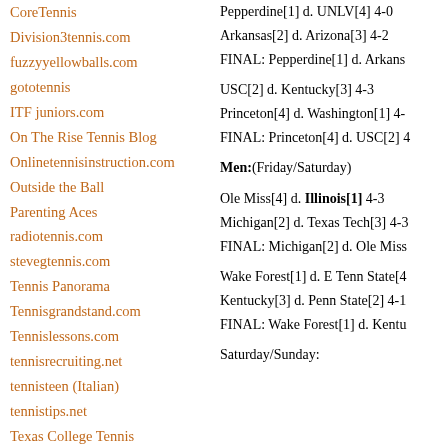CoreTennis
Division3tennis.com
fuzzyyellowballs.com
gototennis
ITF juniors.com
On The Rise Tennis Blog
Onlinetennisinstruction.com
Outside the Ball
Parenting Aces
radiotennis.com
stevegtennis.com
Tennis Panorama
Tennisgrandstand.com
Tennislessons.com
tennisrecruiting.net
tennisteen (Italian)
tennistips.net
Texas College Tennis
Pepperdine[1] d. UNLV[4] 4-0
Arkansas[2] d. Arizona[3] 4-2
FINAL: Pepperdine[1] d. Arkans
USC[2] d. Kentucky[3] 4-3
Princeton[4] d. Washington[1] 4-
FINAL: Princeton[4] d. USC[2] 4
Men:(Friday/Saturday)
Ole Miss[4] d. Illinois[1] 4-3
Michigan[2] d. Texas Tech[3] 4-3
FINAL: Michigan[2] d. Ole Miss
Wake Forest[1] d. E Tenn State[4
Kentucky[3] d. Penn State[2] 4-1
FINAL: Wake Forest[1] d. Kentu
Saturday/Sunday: